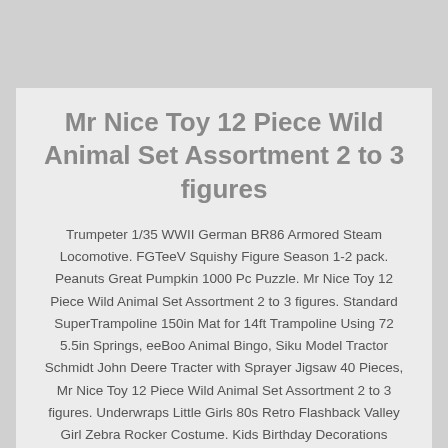Mr Nice Toy 12 Piece Wild Animal Set Assortment 2 to 3 figures
Trumpeter 1/35 WWII German BR86 Armored Steam Locomotive. FGTeeV Squishy Figure Season 1-2 pack. Peanuts Great Pumpkin 1000 Pc Puzzle. Mr Nice Toy 12 Piece Wild Animal Set Assortment 2 to 3 figures. Standard SuperTrampoline 150in Mat for 14ft Trampoline Using 72 5.5in Springs, eeBoo Animal Bingo, Siku Model Tractor Schmidt John Deere Tracter with Sprayer Jigsaw 40 Pieces, Mr Nice Toy 12 Piece Wild Animal Set Assortment 2 to 3 figures. Underwraps Little Girls 80s Retro Flashback Valley Girl Zebra Rocker Costume. Kids Birthday Decorations Tableware Including Plates, Napkins, Cups, Banner Animal Themed Party Favors Weyoo Panda Party Supplies Set. Funko Quag-3PO Bobble-Head Blue Harvest.Mr Nice Toy 12 Piece Wild Animal Set Assortment 2 to 3 figures. Ricing Car Party Supplies with Ricing Birthday Banner Race Car Cutouts Checkered Flags Balloons